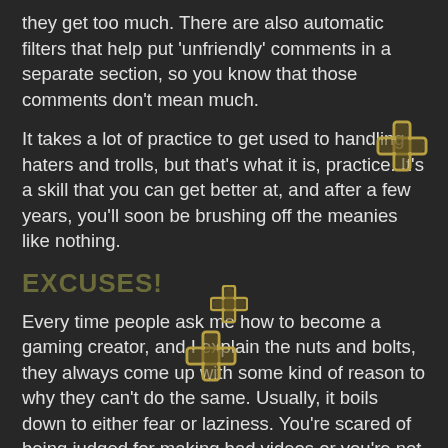they get too much. There are also automatic filters that help put 'unfriendly' comments in a separate section, so you know that those comments don't mean much.
It takes a lot of practice to get used to handling haters and trolls, but that's what it is, practice. It's a skill that you can get better at, and after a few years, you'll soon be brushing off the meanies like nothing.
EXCUSES!
Every time people ask me how to become a gaming creator, and I explain the nuts and bolts, they always come up with some kind of reason to why they can't do the same. Usually, it boils down to either fear or laziness. You're scared of being judged for making bad videos or you're not willing to put in the time and work, but they always say things like this: